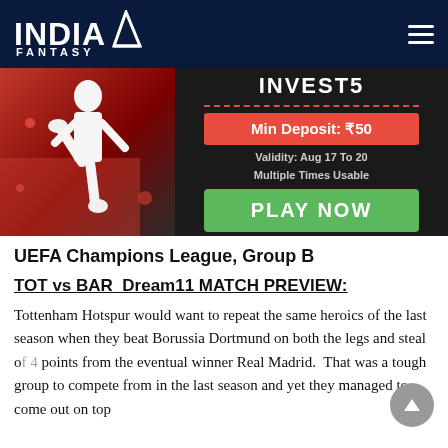INDIA FANTASY
[Figure (infographic): India Fantasy app advertisement banner showing a cricket player on red background with text: INVEST5, Min Deposit: ₹50, Validity: Aug 17 To 20, Multiple Times Usable, PLAY NOW]
UEFA Champions League, Group B
TOT vs BAR  Dream11 MATCH PREVIEW:
Tottenham Hotspur would want to repeat the same heroics of the last season when they beat Borussia Dortmund on both the legs and steal of 4 points from the eventual winner Real Madrid.  That was a tough group to compete from in the last season and yet they managed to come out on top